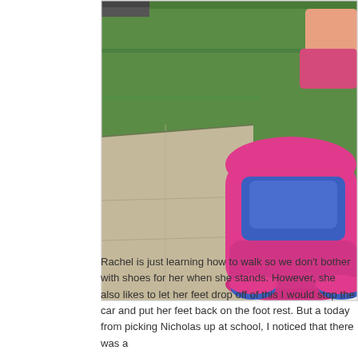[Figure (photo): A child in a pink Little Tikes ride-on toy car with blue accents and cartoon eyes on the front, on a sidewalk with green grass in the background. A vehicle is partially visible at the top.]
Rachel is just learning how to walk so we don't bother with shoes for her when she stands. However, she also likes to let her feet drop off of this I would stop the car and put her feet back on the foot rest. But a today from picking Nicholas up at school, I noticed that there was a